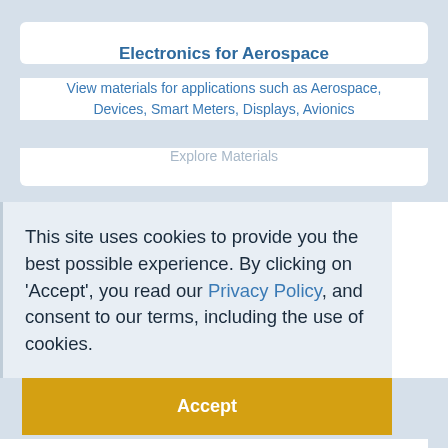Electronics for Aerospace
View materials for applications such as Aerospace, Devices, Smart Meters, Displays, Avionics
Explore Materials
This site uses cookies to provide you the best possible experience. By clicking on 'Accept', you read our Privacy Policy, and consent to our terms, including the use of cookies.
Accept
...